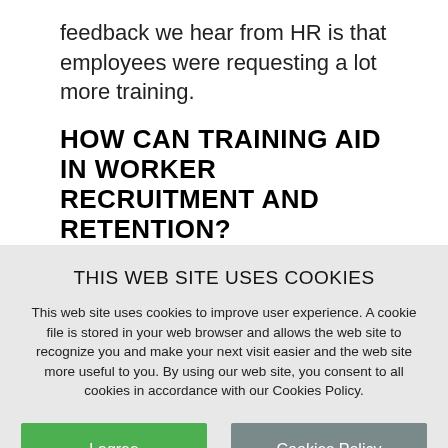feedback we hear from HR is that employees were requesting a lot more training.
HOW CAN TRAINING AID IN WORKER RECRUITMENT AND RETENTION?
THIS WEB SITE USES COOKIES
This web site uses cookies to improve user experience. A cookie file is stored in your web browser and allows the web site to recognize you and make your next visit easier and the web site more useful to you. By using our web site, you consent to all cookies in accordance with our Cookies Policy.
I agree
Cookies Policy